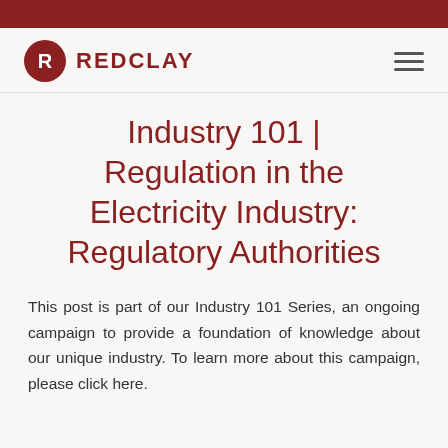[Figure (logo): RedClay logo: red circle with white R letter, followed by REDCLAY text in dark red uppercase letters]
Industry 101 | Regulation in the Electricity Industry: Regulatory Authorities
This post is part of our Industry 101 Series, an ongoing campaign to provide a foundation of knowledge about our unique industry. To learn more about this campaign, please click here.